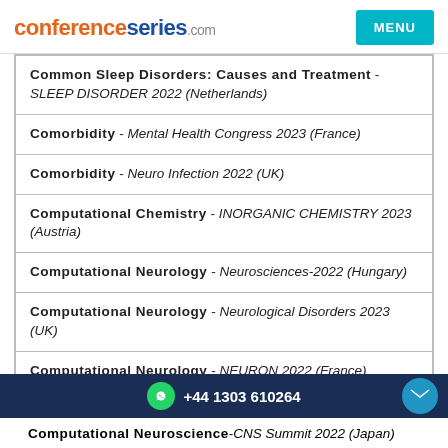conferenceseries.com MENU
Common Sleep Disorders: Causes and Treatment - SLEEP DISORDER 2022 (Netherlands)
Comorbidity - Mental Health Congress 2023 (France)
Comorbidity - Neuro Infection 2022 (UK)
Computational Chemistry - INORGANIC CHEMISTRY 2023 (Austria)
Computational Neurology - Neurosciences-2022 (Hungary)
Computational Neurology - Neurological Disorders 2023 (UK)
Computational Neurology - NEURON 2022 (France)
+44 1303 610264
Computational Neuroscience - CNS Summit 2022 (Japan)